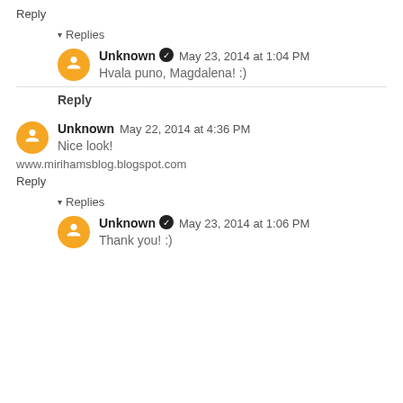Reply
▾ Replies
Unknown ✓ May 23, 2014 at 1:04 PM
Hvala puno, Magdalena! :)
Reply
Unknown May 22, 2014 at 4:36 PM
Nice look!
www.mirihamsblog.blogspot.com
Reply
▾ Replies
Unknown ✓ May 23, 2014 at 1:06 PM
Thank you! :)